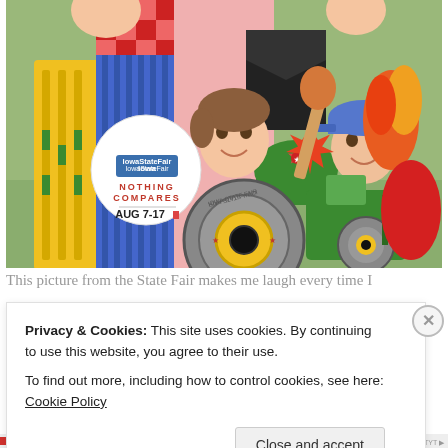[Figure (photo): Photo of two children poking their faces through holes in a colorful Iowa State Fair cardboard photo booth cutout featuring cartoon characters including a farmer, tractor, and corn dog. A white circular logo reads 'Iowa State Fair NOTHING COMPARES AUG 7-17' is visible on the left side of the cutout. The background is green grass/bushes.]
This picture from the State Fair makes me laugh every time I
Privacy & Cookies: This site uses cookies. By continuing to use this website, you agree to their use.
To find out more, including how to control cookies, see here: Cookie Policy